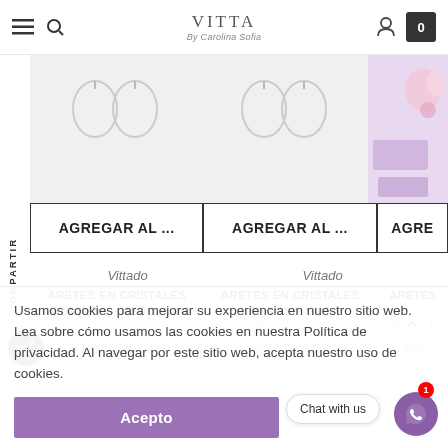VITTA By Carolina Sofia — navigation header
[Figure (screenshot): E-commerce product listing page for VITTA By Carolina Sofia jewelry store showing earring products with add-to-cart buttons and a cookie consent banner overlay]
AGREGAR AL ...
AGREGAR AL ...
AGRE
Vittado
Vittado
ARETES EN CRISTALES MEDIANOS – REDONDOS
ARETES EN CRISTALES LARGOS – GOTA
ARETES
RD$ 1500.00
RD$ 1800.00
RD
COMPARTIR
Usamos cookies para mejorar su experiencia en nuestro sitio web. Lea sobre cómo usamos las cookies en nuestra Política de privacidad. Al navegar por este sitio web, acepta nuestro uso de cookies.
Acepto
Chat with us